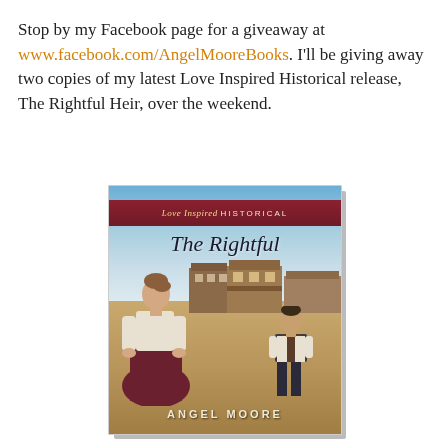Stop by my Facebook page for a giveaway at www.facebook.com/AngelMooreBooks. I'll be giving away two copies of my latest Love Inspired Historical release, The Rightful Heir, over the weekend.
[Figure (photo): Book cover of 'The Rightful Heir' by Angel Moore, published under the Love Inspired Historical imprint. Cover shows a woman in early 1900s attire in the foreground looking back, and a man walking toward her in the background, set in an Old West town.]